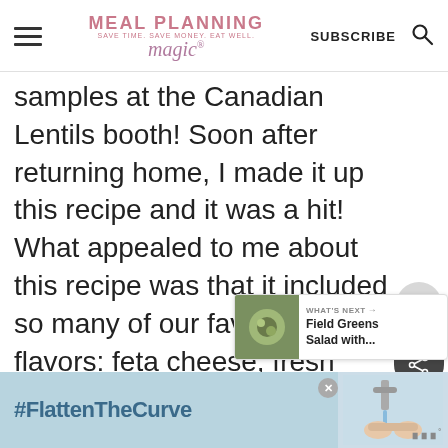MEAL PLANNING magic® — SUBSCRIBE
samples at the Canadian Lentils booth! Soon after returning home, I made it up this recipe and it was a hit! What appealed to me about this recipe was that it included so many of our favorite flavors: feta cheese, fresh vegetables, orzo pasta and of course lentils (that p was new!).
[Figure (other): Social sidebar with heart/like button and share count of 493]
[Figure (other): What's Next overlay with thumbnail and text: Field Greens Salad with...]
[Figure (other): Ad banner with #FlattenTheCurve text and hand-washing image]